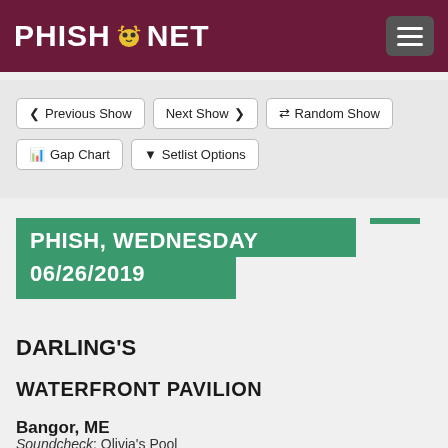PHISH.NET
< Previous Show  Next Show >  Random Show  Gap Chart  Setlist Options
PHISH, WEDNESDAY 06/26/2019
DARLING'S
WATERFRONT PAVILION
Bangor, ME
Soundcheck: Olivia's Pool